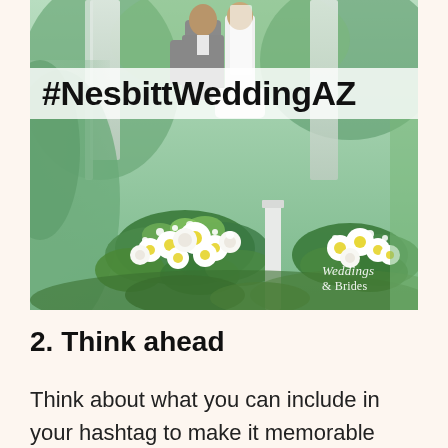[Figure (photo): Outdoor wedding ceremony photo showing a couple from behind at an altar decorated with large white flower arrangements including daisies, roses, and greenery. Blurred green background. Watermark reads 'Weddings & Brides'.]
#NesbittWeddingAZ
2. Think ahead
Think about what you can include in your hashtag to make it memorable both for your